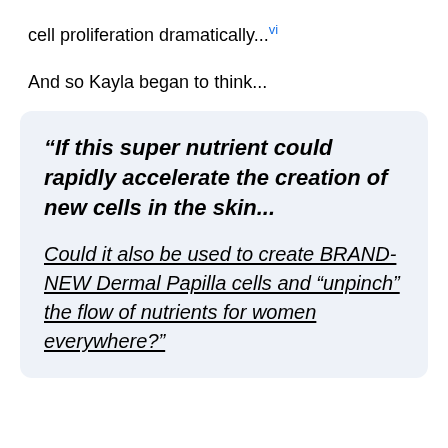cell proliferation dramatically...[vi]
And so Kayla began to think...
“If this super nutrient could rapidly accelerate the creation of new cells in the skin...

Could it also be used to create BRAND-NEW Dermal Papilla cells and “unpinch” the flow of nutrients for women everywhere?”